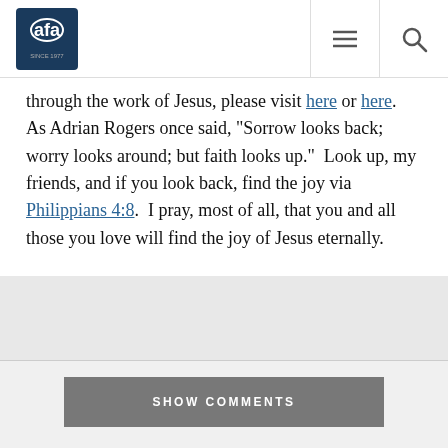AFA - Since 1977
through the work of Jesus, please visit here or here.  As Adrian Rogers once said, "Sorrow looks back; worry looks around; but faith looks up."  Look up, my friends, and if you look back, find the joy via Philippians 4:8.  I pray, most of all, that you and all those you love will find the joy of Jesus eternally.